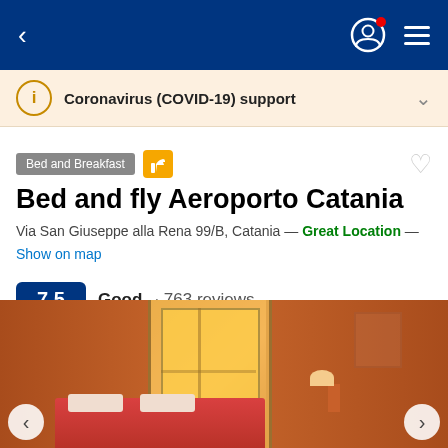Navigation bar with back arrow, user icon, and hamburger menu on blue background
Coronavirus (COVID-19) support
Bed and Breakfast
Bed and fly Aeroporto Catania
Via San Giuseppe alla Rena 99/B, Catania — Great Location — Show on map
7.5  Good · 763 reviews
[Figure (photo): Interior photo of a bedroom with orange/terracotta walls, a door/balcony opening with bright light, a red bed with white pillows, and a lamp. Navigation arrows visible at bottom left and right.]